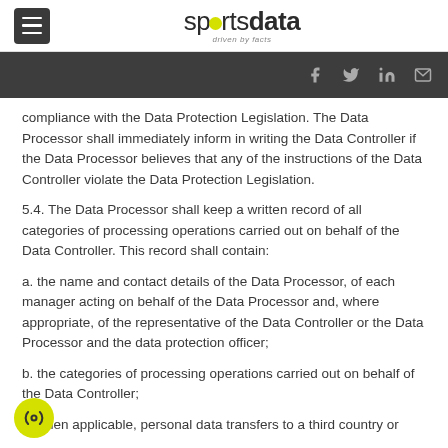[Figure (logo): Sportsdata logo with hamburger menu icon and social media icons bar]
compliance with the Data Protection Legislation. The Data Processor shall immediately inform in writing the Data Controller if the Data Processor believes that any of the instructions of the Data Controller violate the Data Protection Legislation.
5.4. The Data Processor shall keep a written record of all categories of processing operations carried out on behalf of the Data Controller. This record shall contain:
a. the name and contact details of the Data Processor, of each manager acting on behalf of the Data Processor and, where appropriate, of the representative of the Data Controller or the Data Processor and the data protection officer;
b. the categories of processing operations carried out on behalf of the Data Controller;
c. when applicable, personal data transfers to a third country or